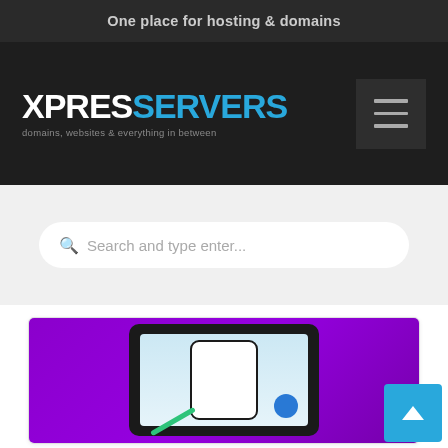One place for hosting & domains
[Figure (logo): XpresServers logo — XPRES in white bold, SERVERS in blue bold, tagline: domains, websites & everything in between]
[Figure (screenshot): Hamburger menu icon button with three horizontal lines on dark background]
Search and type enter...
[Figure (illustration): Purple background with a monitor showing a card with moon icon and blue circle, green arrow element — article thumbnail image]